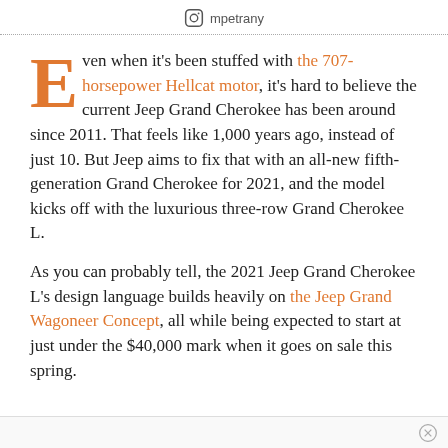mpetrany
Even when it's been stuffed with the 707-horsepower Hellcat motor, it's hard to believe the current Jeep Grand Cherokee has been around since 2011. That feels like 1,000 years ago, instead of just 10. But Jeep aims to fix that with an all-new fifth-generation Grand Cherokee for 2021, and the model kicks off with the luxurious three-row Grand Cherokee L.
As you can probably tell, the 2021 Jeep Grand Cherokee L's design language builds heavily on the Jeep Grand Wagoneer Concept, all while being expected to start at just under the $40,000 mark when it goes on sale this spring.